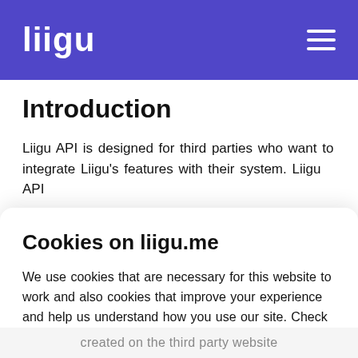liigu
Introduction
Liigu API is designed for third parties who want to integrate Liigu's features with their system. Liigu API
Cookies on liigu.me
We use cookies that are necessary for this website to work and also cookies that improve your experience and help us understand how you use our site. Check our Privacy Policy for more information.
created on the third party website